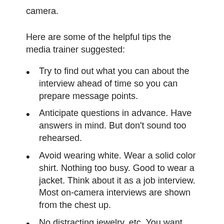camera.
Here are some of the helpful tips the media trainer suggested:
Try to find out what you can about the interview ahead of time so you can prepare message points.
Anticipate questions in advance. Have answers in mind. But don’t sound too rehearsed.
Avoid wearing white. Wear a solid color shirt. Nothing too busy. Good to wear a jacket. Think about it as a job interview. Most on-camera interviews are shown from the chest up.
No distracting jewelry, etc. You want people to focus on your message.
Eyes — no looking around. Focus on interviewer.